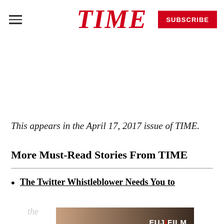TIME
This appears in the April 17, 2017 issue of TIME.
More Must-Read Stories From TIME
The Twitter Whistleblower Needs You to
[Figure (photo): Advertisement image with warm tones and FUJIFILM logo — Value from Innovation]
the